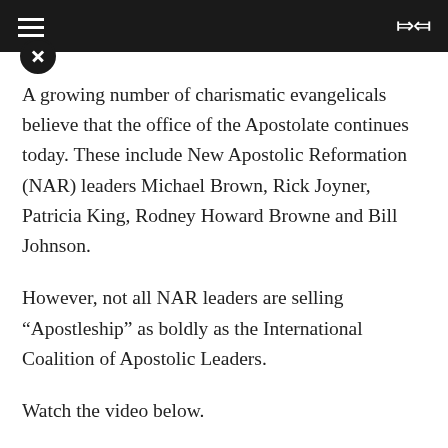☰  ⇌
A growing number of charismatic evangelicals believe that the office of the Apostolate continues today. These include New Apostolic Reformation (NAR) leaders Michael Brown, Rick Joyner, Patricia King, Rodney Howard Browne and Bill Johnson.
However, not all NAR leaders are selling “Apostleship” as boldly as the International Coalition of Apostolic Leaders.
Watch the video below.